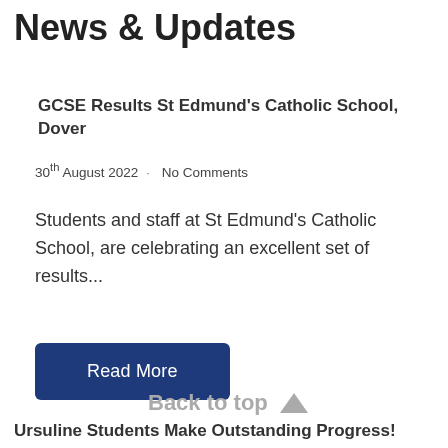News & Updates
GCSE Results St Edmund's Catholic School, Dover
30th August 2022 · No Comments
Students and staff at St Edmund's Catholic School, are celebrating an excellent set of results...
Read More
Back to top ▲
Ursuline Students Make Outstanding Progress!